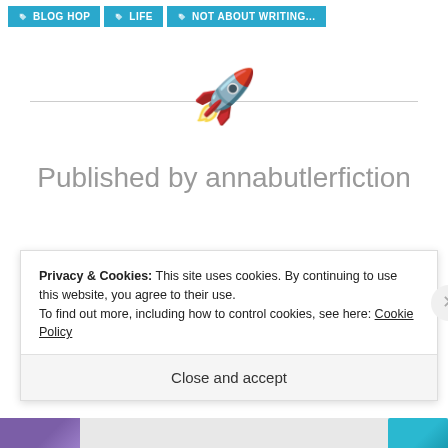BLOG HOP  LIFE  NOT ABOUT WRITING...
[Figure (illustration): Rocket emoji / divider with horizontal lines on either side]
Published by annabutlerfiction
Privacy & Cookies: This site uses cookies. By continuing to use this website, you agree to their use.
To find out more, including how to control cookies, see here: Cookie Policy
Close and accept